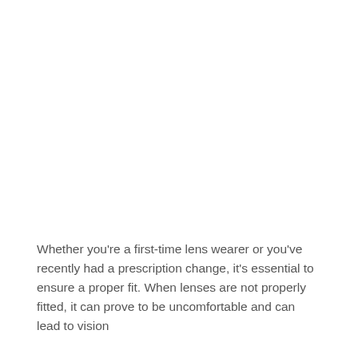Whether you're a first-time lens wearer or you've recently had a prescription change, it's essential to ensure a proper fit. When lenses are not properly fitted, it can prove to be uncomfortable and can lead to vision